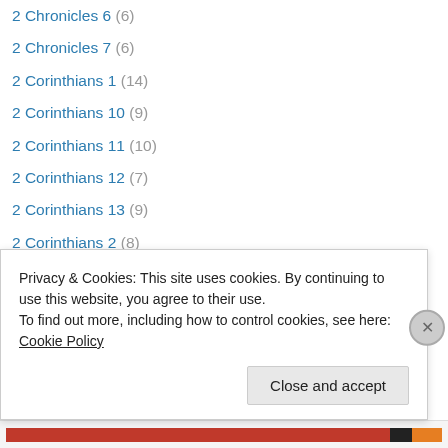2 Chronicles 6 (6)
2 Chronicles 7 (6)
2 Corinthians 1 (14)
2 Corinthians 10 (9)
2 Corinthians 11 (10)
2 Corinthians 12 (7)
2 Corinthians 13 (9)
2 Corinthians 2 (8)
2 Corinthians 3 (12)
2 Corinthians 4 (18)
2 Corinthians 5 (22)
2 Corinthians 6 (10)
2 Corinthians 7 (9)
Privacy & Cookies: This site uses cookies. By continuing to use this website, you agree to their use. To find out more, including how to control cookies, see here: Cookie Policy